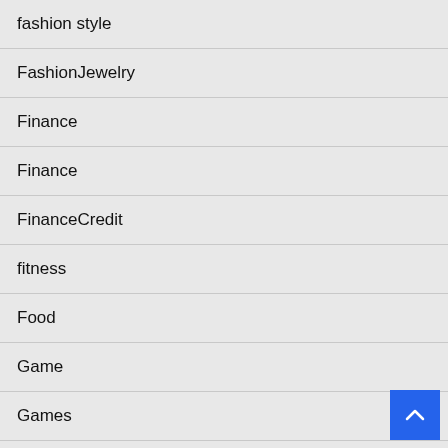fashion style
FashionJewelry
Finance
Finance
FinanceCredit
fitness
Food
Game
Games